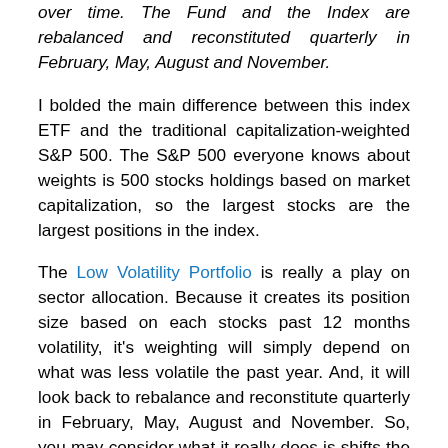over time. The Fund and the Index are rebalanced and reconstituted quarterly in February, May, August and November.
I bolded the main difference between this index ETF and the traditional capitalization-weighted S&P 500. The S&P 500 everyone knows about weights is 500 stocks holdings based on market capitalization, so the largest stocks are the largest positions in the index.
The Low Volatility Portfolio is really a play on sector allocation. Because it creates its position size based on each stocks past 12 months volatility, it's weighting will simply depend on what was less volatile the past year. And, it will look back to rebalance and reconstitute quarterly in February, May, August and November. So, you may consider what it really does is shifts the position size